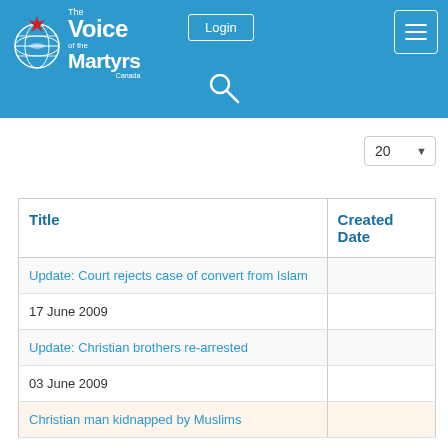[Figure (logo): The Voice of the Martyrs Canada logo with globe and maple leaf icon]
Login
| Title | Created Date |
| --- | --- |
| Update: Court rejects case of convert from Islam |  |
| 17 June 2009 |  |
| Update: Christian brothers re-arrested |  |
| 03 June 2009 |  |
| Christian man kidnapped by Muslims |  |